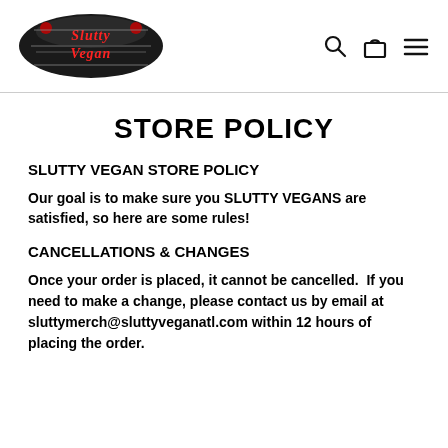[Figure (logo): Slutty Vegan logo — two burger buns with red script text 'Slutty Vegan' on black oval background]
STORE POLICY
SLUTTY VEGAN STORE POLICY
Our goal is to make sure you SLUTTY VEGANS are satisfied, so here are some rules!
CANCELLATIONS & CHANGES
Once your order is placed, it cannot be cancelled.  If you need to make a change, please contact us by email at sluttymerch@sluttyveganatl.com within 12 hours of placing the order.